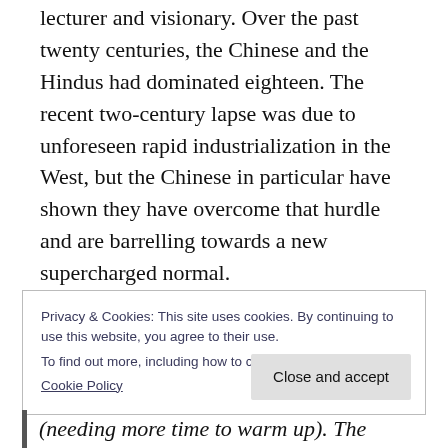lecturer and visionary. Over the past twenty centuries, the Chinese and the Hindus had dominated eighteen. The recent two-century lapse was due to unforeseen rapid industrialization in the West, but the Chinese in particular have shown they have overcome that hurdle and are barrelling towards a new supercharged normal.
Ouweneel sums up the current situation in a brief paragraph:
Privacy & Cookies: This site uses cookies. By continuing to use this website, you agree to their use.
To find out more, including how to control cookies, see here:
Cookie Policy
Close and accept
(needing more time to warm up). The